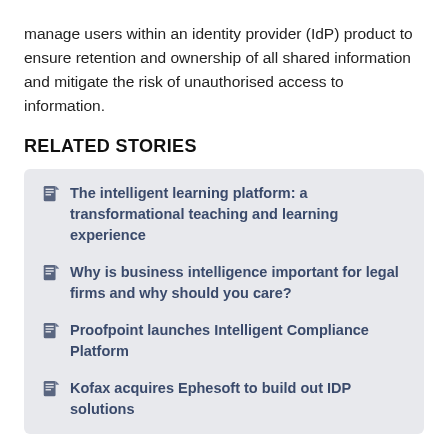manage users within an identity provider (IdP) product to ensure retention and ownership of all shared information and mitigate the risk of unauthorised access to information.
RELATED STORIES
The intelligent learning platform: a transformational teaching and learning experience
Why is business intelligence important for legal firms and why should you care?
Proofpoint launches Intelligent Compliance Platform
Kofax acquires Ephesoft to build out IDP solutions